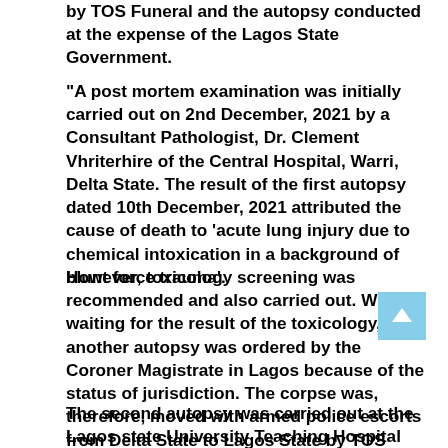by TOS Funeral and the autopsy conducted at the expense of the Lagos State Government.
"A post mortem examination was initially carried out on 2nd December, 2021 by a Consultant Pathologist, Dr. Clement Vhriterhire of the Central Hospital, Warri, Delta State. The result of the first autopsy dated 10th December, 2021 attributed the cause of death to ‘acute lung injury due to chemical intoxication in a background of blunt force trauma’.
However, toxicology screening was recommended and also carried out. While waiting for the result of the toxicology, another autopsy was ordered by the Coroner Magistrate in Lagos because of the status of jurisdiction. The corpse was, therefore, moved with armed police escorts from Delta State to Lagos State by TOS Funeral and the autopsy conducted at the expense of the Lagos State Government.
The second autopsy was carried out at the Lagos state University Teaching Hospital on 14th December, 2021